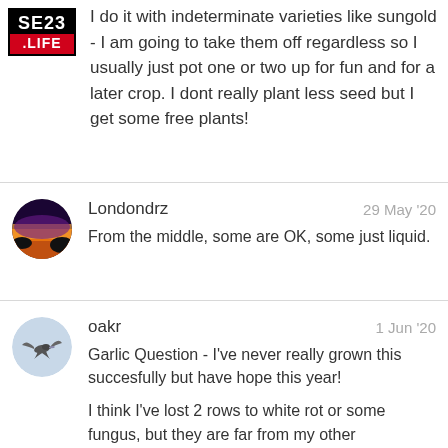SE23 .LIFE
I do it with indeterminate varieties like sungold - I am going to take them off regardless so I usually just pot one or two up for fun and for a later crop. I dont really plant less seed but I get some free plants!
Londondrz
29 May '20
From the middle, some are OK, some just liquid.
oakr
1 Jun '20
Garlic Question - I've never really grown this succesfully but have hope this year!

I think I've lost 2 rows to white rot or some fungus, but they are far from my other